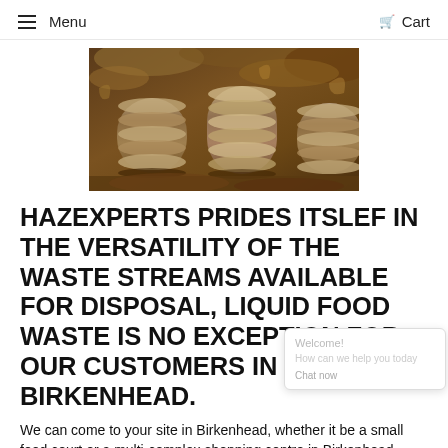Menu   Cart
[Figure (photo): Close-up photo of industrial metal screw conveyors covered in food/organic waste material]
HAZEXPERTS PRIDES ITSLEF IN THE VERSATILITY OF THE WASTE STREAMS AVAILABLE FOR DISPOSAL, LIQUID FOOD WASTE IS NO EXCEPTION FOR OUR CUSTOMERS IN BIRKENHEAD.
We can come to your site in Birkenhead, whether it be a small food court or a multi-complex shopping centre in Birkenhead